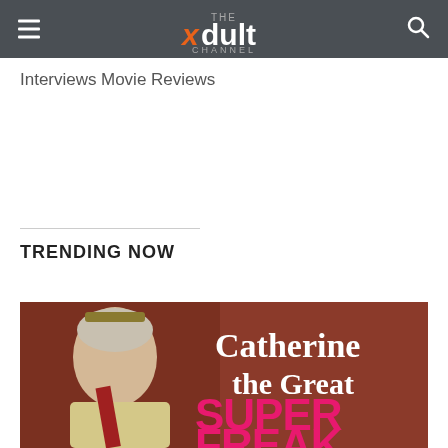THE xdult CHANNEL
Interviews
Movie Reviews
TRENDING NOW
[Figure (photo): Promotional image for 'Catherine the Great Super Freak' showing a classical portrait of Catherine the Great overlaid with pink graffiti-style text reading 'Catherine the Great SUPER FREAK']